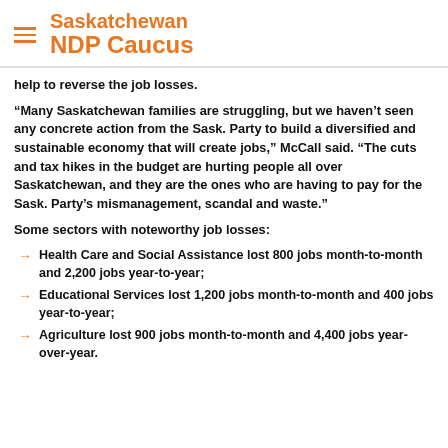Saskatchewan NDP Caucus
help to reverse the job losses.
“Many Saskatchewan families are struggling, but we haven’t seen any concrete action from the Sask. Party to build a diversified and sustainable economy that will create jobs,” McCall said. “The cuts and tax hikes in the budget are hurting people all over Saskatchewan, and they are the ones who are having to pay for the Sask. Party’s mismanagement, scandal and waste.”
Some sectors with noteworthy job losses:
Health Care and Social Assistance lost 800 jobs month-to-month and 2,200 jobs year-to-year;
Educational Services lost 1,200 jobs month-to-month and 400 jobs year-to-year;
Agriculture lost 900 jobs month-to-month and 4,400 jobs year-over-year.